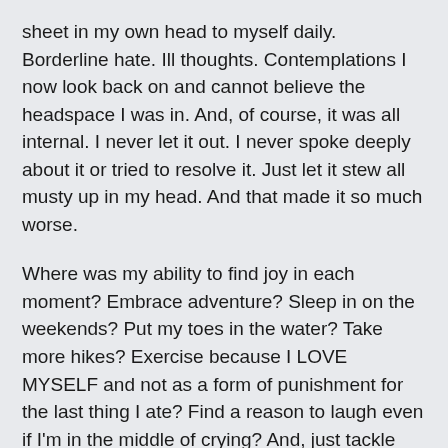sheet in my own head to myself daily. Borderline hate. Ill thoughts. Contemplations I now look back on and cannot believe the headspace I was in. And, of course, it was all internal. I never let it out. I never spoke deeply about it or tried to resolve it. Just let it stew all musty up in my head. And that made it so much worse.
Where was my ability to find joy in each moment? Embrace adventure? Sleep in on the weekends? Put my toes in the water? Take more hikes? Exercise because I LOVE MYSELF and not as a form of punishment for the last thing I ate? Find a reason to laugh even if I'm in the middle of crying? And, just tackle the crap out of my goals!?!?
Trauma.